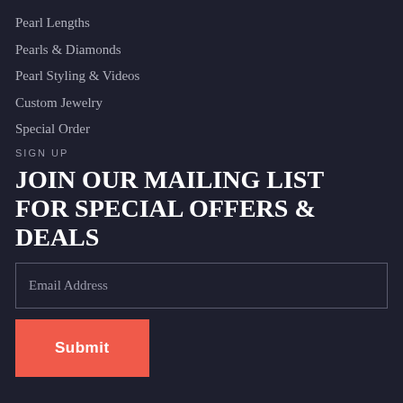Pearl Lengths
Pearls & Diamonds
Pearl Styling & Videos
Custom Jewelry
Special Order
SIGN UP
JOIN OUR MAILING LIST FOR SPECIAL OFFERS & DEALS
Email Address
Submit